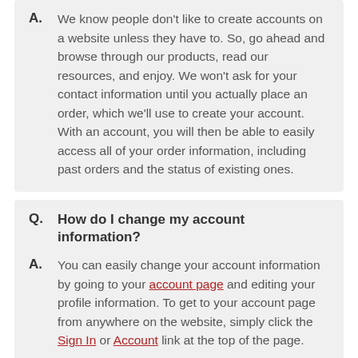A. We know people don't like to create accounts on a website unless they have to. So, go ahead and browse through our products, read our resources, and enjoy. We won't ask for your contact information until you actually place an order, which we'll use to create your account. With an account, you will then be able to easily access all of your order information, including past orders and the status of existing ones.
Q. How do I change my account information?
A. You can easily change your account information by going to your account page and editing your profile information. To get to your account page from anywhere on the website, simply click the Sign In or Account link at the top of the page.
Q. What is your privacy policy?
A. Our privacy policy is simple: We will not share any of your company or personal information or data with any of our partners or vendors. You can view our formal Privacy Policy here: Privacy...